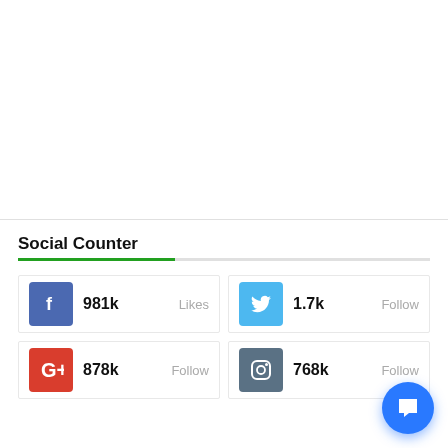[Figure (other): Empty white content area at top of page]
Social Counter
981k Likes (Facebook)
1.7k Follow (Twitter)
878k Follow (Google+)
768k Follow (Instagram)